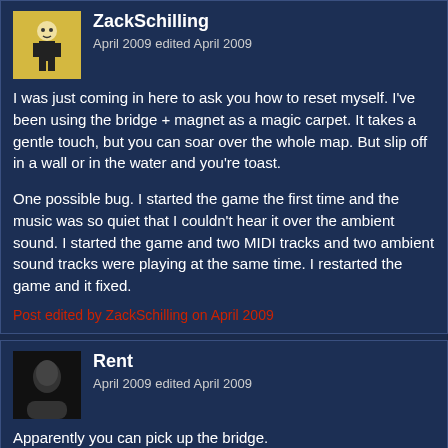ZackSchilling
April 2009 edited April 2009
I was just coming in here to ask you how to reset myself. I've been using the bridge + magnet as a magic carpet. It takes a gentle touch, but you can soar over the whole map. But slip off in a wall or in the water and you're toast.

One possible bug. I started the game the first time and the music was so quiet that I couldn't hear it over the ambient sound. I started the game and two MIDI tracks and two ambient sound tracks were playing at the same time. I restarted the game and it fixed.
Post edited by ZackSchilling on April 2009
Rent
April 2009 edited April 2009
Apparently you can pick up the bridge.
It's very lulzy
And game breaking, since you can place it in an area that